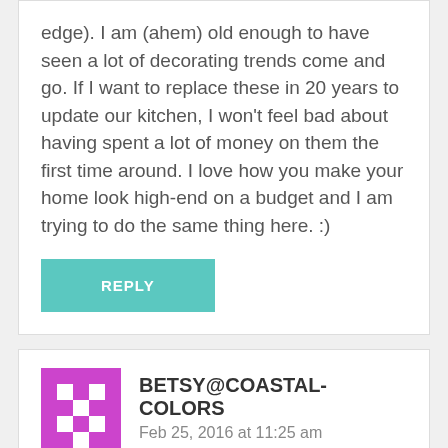edge). I am (ahem) old enough to have seen a lot of decorating trends come and go. If I want to replace these in 20 years to update our kitchen, I won't feel bad about having spent a lot of money on them the first time around. I love how you make your home look high-end on a budget and I am trying to do the same thing here. :)
REPLY
BETSY@COASTAL-COLORS
Feb 25, 2016 at 11:25 am
Love this! I'm so happy you left the smashed